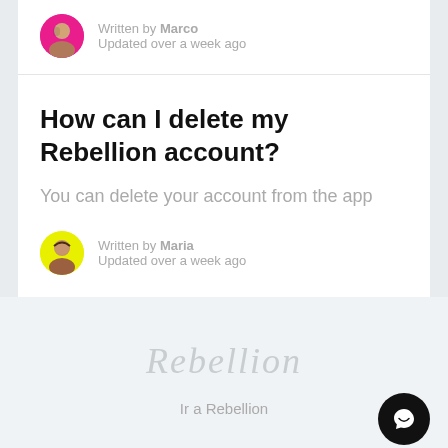Written by Marco
Updated over a week ago
How can I delete my Rebellion account?
You can delete your account from the app
Written by Maria
Updated over a week ago
[Figure (logo): Rebellion logo text in light gray italic font]
Ir a Rebellion